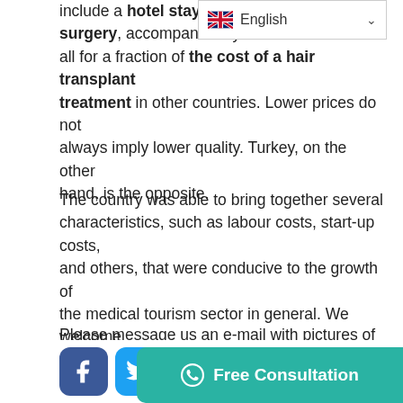[Figure (screenshot): Language selector dropdown showing UK flag and 'English' label with chevron]
include a hotel stay and a surgery, accompanied by a [...] all for a fraction of the cost of a hair transplant treatment in other countries. Lower prices do not always imply lower quality. Turkey, on the other hand, is the opposite.
The country was able to bring together several characteristics, such as labour costs, start-up costs, and others, that were conducive to the growth of the medical tourism sector in general. We welcome you to visit our clinic in Turkey to determine which hair transplant treatment is right for you.
Please message us an e-mail with pictures of your hair to get a price discount for a hair transplant in our clinic.
[Figure (screenshot): Social media icons row: Facebook, Twitter, WhatsApp, Messenger, and a teal Free Consultation button with WhatsApp icon]